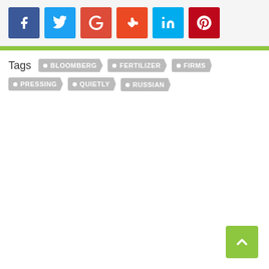[Figure (infographic): Row of social media share buttons: Facebook (blue), Twitter (light blue), Google+ (red), StumbleUpon (orange-red), LinkedIn (cyan), Pinterest (red)]
Tags: BLOOMBERG, FERTILIZER, FIRMS, PRESSING, QUIETLY, RUSSIAN